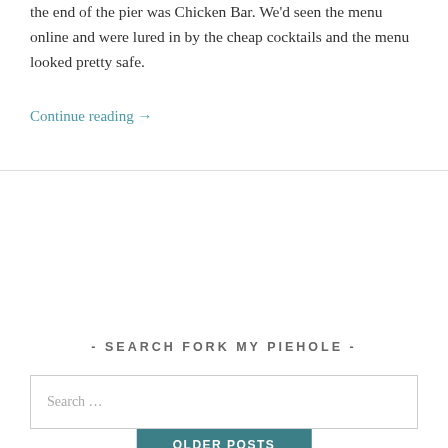the end of the pier was Chicken Bar. We'd seen the menu online and were lured in by the cheap cocktails and the menu looked pretty safe.
Continue reading →
OLDER POSTS
- SEARCH FORK MY PIEHOLE -
Search …